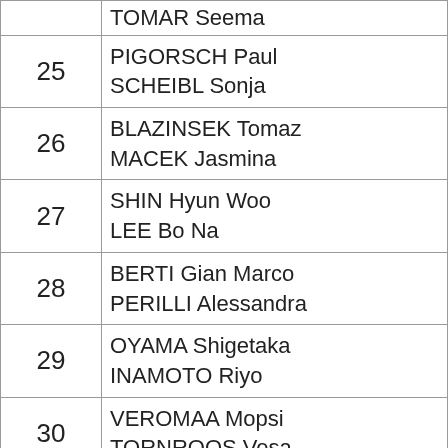| # | Name |
| --- | --- |
|  | TOMAR Seema |
| 25 | PIGORSCH Paul
SCHEIBL Sonja |
| 26 | BLAZINSEK Tomaz
MACEK Jasmina |
| 27 | SHIN Hyun Woo
LEE Bo Na |
| 28 | BERTI Gian Marco
PERILLI Alessandra |
| 29 | OYAMA Shigetaka
INAMOTO Riyo |
| 30 | VEROMAA Mopsi
TORNROOS Vesa |
| 31 | ALHAWAL Shahad
ALDEEHANI Feha |
| 32 | SOLYOM Laszlo
ZAUNER Gerlinde |
| 33 | CHENAI Kynan
SINGH Shreyasi |
| 34 | WALLACE Casey
BARNEY WEINHEIM... |